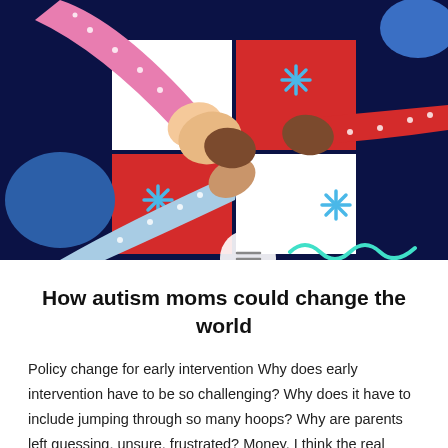[Figure (illustration): Colorful illustration on dark navy blue background showing multiple hands of different skin tones coming together in a teamwork gesture. Hands wear polka-dot sleeves in pink, red, and light blue. A grid of red and white squares forms the background, with blue asterisk/snowflake decorations. A teal squiggly line and a white circle are visible at the bottom.]
How autism moms could change the world
Policy change for early intervention Why does early intervention have to be so challenging? Why does it have to include jumping through so many hoops? Why are parents left guessing, unsure, frustrated? Money, I think the real